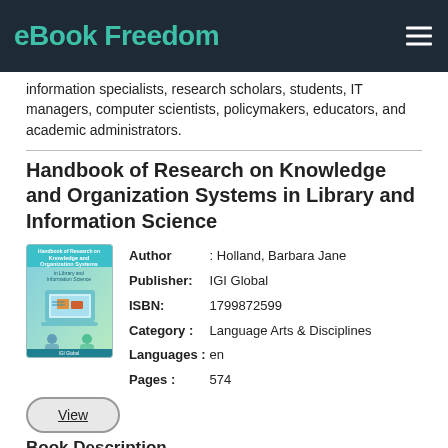eBook Freedom
information specialists, research scholars, students, IT managers, computer scientists, policymakers, educators, and academic administrators.
Handbook of Research on Knowledge and Organization Systems in Library and Information Science
[Figure (illustration): Book cover for Handbook of Research on Knowledge and Organization Systems in Library and Information Science]
| Author | Holland, Barbara Jane |
| Publisher | IGI Global |
| ISBN | 1799872599 |
| Category | Language Arts & Disciplines |
| Languages | en |
| Pages | 574 |
View
Book Description
Due to changes in the learning and research environment, changes in the behavior of library users, and unique global